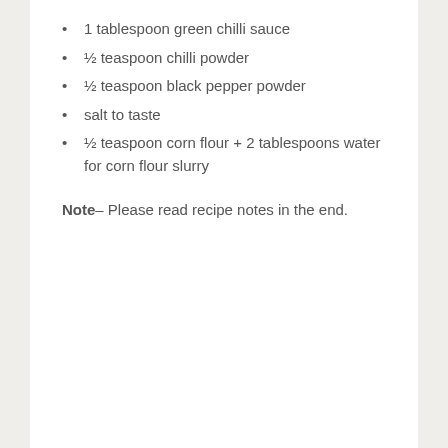1 tablespoon green chilli sauce
½ teaspoon chilli powder
½ teaspoon black pepper powder
salt to taste
½ teaspoon corn flour + 2 tablespoons water for corn flour slurry
Note– Please read recipe notes in the end.